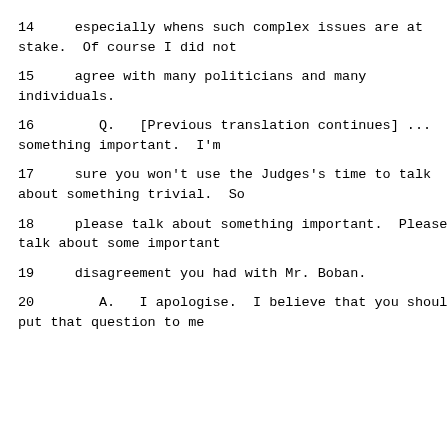14     especially whens such complex issues are at stake.  Of course I did not
15     agree with many politicians and many individuals.
16        Q.   [Previous translation continues] ... something important.  I'm
17     sure you won't use the Judges's time to talk about something trivial.  So
18     please talk about something important.  Please talk about some important
19     disagreement you had with Mr. Boban.
20        A.   I apologise.  I believe that you should put that question to me